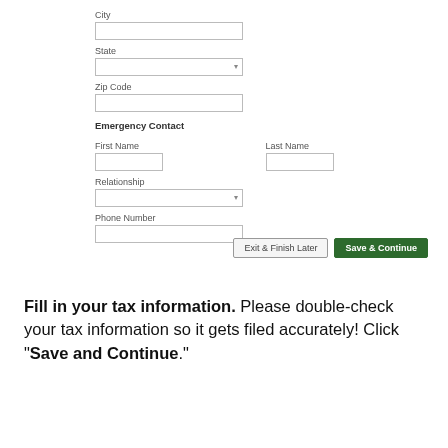[Figure (screenshot): Web form screenshot showing City, State, Zip Code fields, Emergency Contact section with First Name, Last Name, Relationship, Phone Number fields, and Save & Continue / Exit & Finish Later buttons]
Fill in your tax information. Please double-check your tax information so it gets filed accurately! Click "Save and Continue."